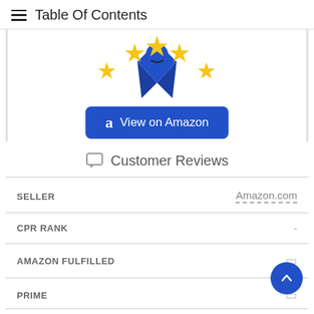Table Of Contents
[Figure (illustration): Product illustration with a blue figure wearing a cape and surrounded by five yellow stars, two smaller on sides and three larger in center.]
[Figure (other): Blue 'View on Amazon' button with Amazon 'a' logo icon]
Customer Reviews
| Field | Value |
| --- | --- |
| SELLER | Amazon.com |
| CPR RANK | - |
| AMAZON FULFILLED |  |
| PRIME |  |
| FREE SHIPPING |  |